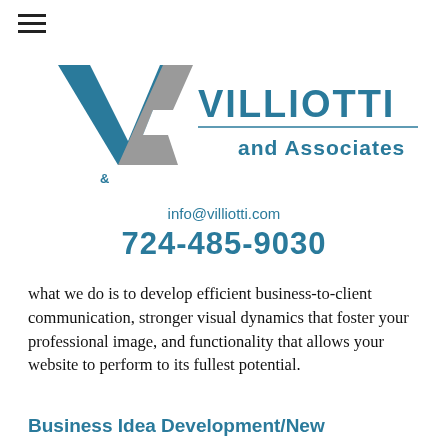[Figure (logo): Villiotti and Associates logo with a stylized V&A mark in teal and gray, and the company name in teal bold text]
info@villiotti.com
724-485-9030
what we do is to develop efficient business-to-client communication, stronger visual dynamics that foster your professional image, and functionality that allows your website to perform to its fullest potential.
Business Idea Development/New